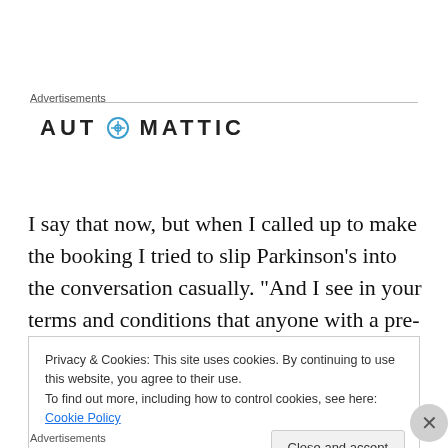Advertisements
[Figure (logo): Automattic logo in bold uppercase letters with a compass/target icon replacing the letter O]
I say that now, but when I called up to make the booking I tried to slip Parkinson’s into the conversation casually. “And I see in your terms and conditions that anyone with a pre-existing medical condition must declare it. One of our
Privacy & Cookies: This site uses cookies. By continuing to use this website, you agree to their use.
To find out more, including how to control cookies, see here: Cookie Policy
Close and accept
Advertisements